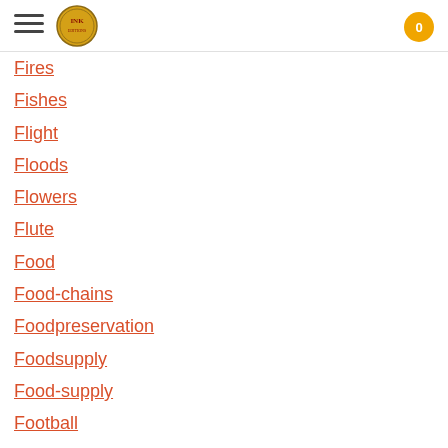INK — navigation header with hamburger menu, logo, and cart button (0)
Fires
Fishes
Flight
Floods
Flowers
Flute
Food
Food-chains
Foodpreservation
Foodsupply
Food-supply
Football
Forceandenergy
Force-and-energy
Force-and-energy